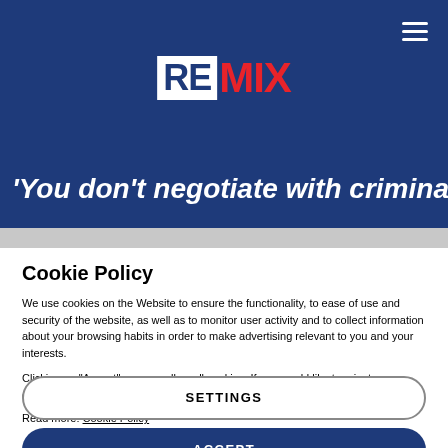[Figure (logo): REMIX logo — RE in white box on dark blue background, MIX in red text]
'You don't negotiate with criminals,
Cookie Policy
We use cookies on the Website to ensure the functionality, to ease of use and security of the website, as well as to monitor user activity and to collect information about your browsing habits in order to make advertising relevant to you and your interests.
Clicking on "Accept" you can allow all cookies. If you would like to reject or customize, please click on "Settings".
Read more: Cookie Policy
SETTINGS
ACCEPT